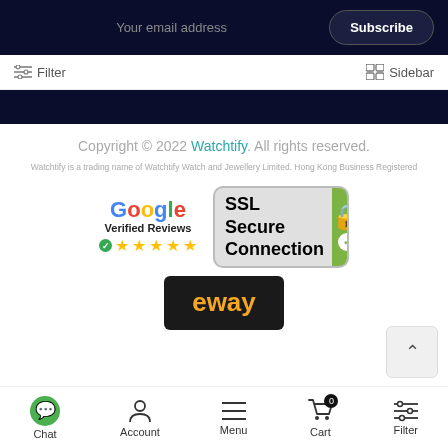Your email address
Subscribe
Filter
Sidebar
Copyright © 2022 Watchtify. All rights reserved.
Watchtify is a trading name of Watchtify Watch and Jewellery Limited. Hong Kong Business Registered
[Figure (logo): Google Verified Reviews badge with 5 gold stars and green check circle]
[Figure (logo): SSL Secure Connection badge with padlock icon on green background]
[Figure (logo): eway payment gateway logo on dark background]
Chat
Account
Menu
Cart
Filter